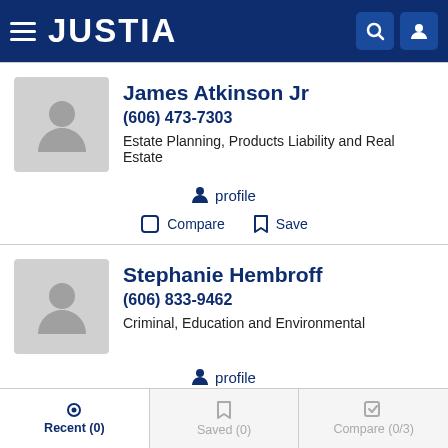JUSTIA
James Atkinson Jr
(606) 473-7303
Estate Planning, Products Liability and Real Estate
profile
Compare  Save
Stephanie Hembroff
(606) 833-9462
Criminal, Education and Environmental
profile
Recent (0)  Saved (0)  Compare (0/3)